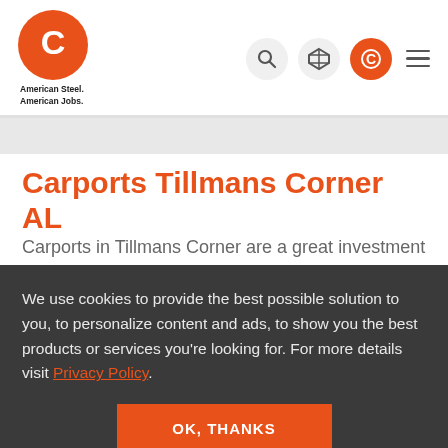[Figure (logo): Central Steel Buildings logo - orange circle with white C, with text American Steel. American Jobs.]
[Figure (screenshot): Navigation icons: search, 3D box, orange phone circle, hamburger menu]
Carports Tillmans Corner AL
Carports in Tillmans Corner are a great investment that you can make at a fraction of the cost of a wood building. Metal
We use cookies to provide the best possible solution to you, to personalize content and ads, to show you the best products or services you're looking for. For more details visit Privacy Policy.
OK, THANKS
(888) 988-1445